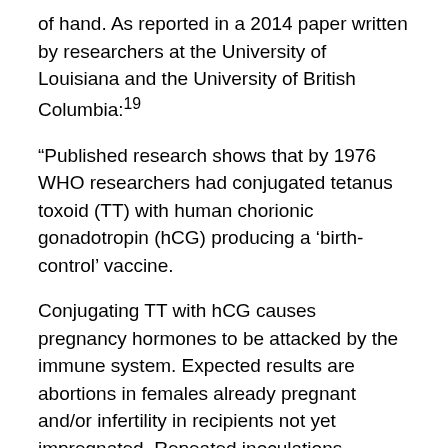of hand. As reported in a 2014 paper written by researchers at the University of Louisiana and the University of British Columbia:19
“Published research shows that by 1976 WHO researchers had conjugated tetanus toxoid (TT) with human chorionic gonadotropin (hCG) producing a ‘birth-control’ vaccine.
Conjugating TT with hCG causes pregnancy hormones to be attacked by the immune system. Expected results are abortions in females already pregnant and/or infertility in recipients not yet impregnated. Repeated inoculations prolong infertility. Currently WHO researchers are working on more potent anti-fertility vaccines using recombinant DNA.
WHO publications show a long-range purpose to reduce